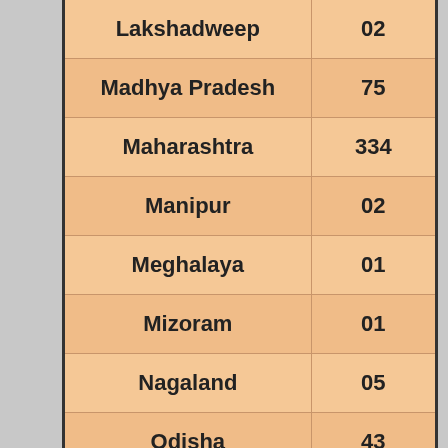| State/UT | Count |
| --- | --- |
| Lakshadweep | 02 |
| Madhya Pradesh | 75 |
| Maharashtra | 334 |
| Manipur | 02 |
| Meghalaya | 01 |
| Mizoram | 01 |
| Nagaland | 05 |
| Odisha | 43 |
| Puducherry |  |
| Punjab | 136 |